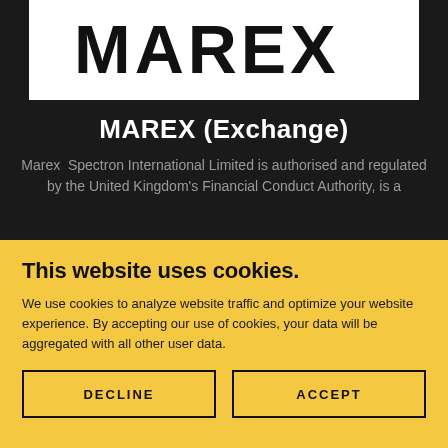[Figure (logo): MAREX logo in black text on white background]
MAREX (Exchange)
Marex  Spectron International Limited is authorised and regulated by the United Kingdom's Financial Conduct Authority, is a
This website uses cookies.
We use cookies to analyze website traffic and optimize your website experience. By accepting our use of cookies, your data will be aggregated with all other user data.
DECLINE
ACCEPT